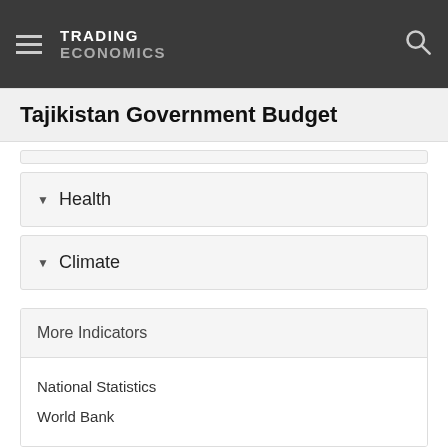TRADING ECONOMICS
Tajikistan Government Budget
Health
Climate
More Indicators
National Statistics
World Bank
TRADING ECONOMICS
Subscriptions